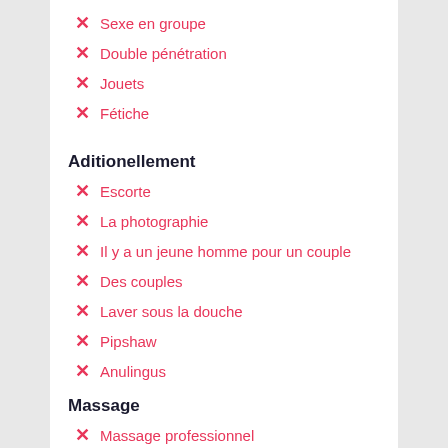Sexe en groupe
Double pénétration
Jouets
Fétiche
Aditionellement
Escorte
La photographie
Il y a un jeune homme pour un couple
Des couples
Laver sous la douche
Pipshaw
Anulingus
Massage
Massage professionnel
Massage érotique
Massage urologique
Massage thaï